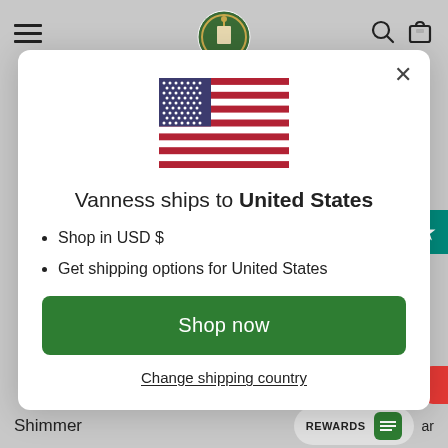[Figure (screenshot): Website navigation bar with hamburger menu icon on the left, a circular logo/seal in the center, and search and shopping bag icons on the right, on a gray background]
[Figure (illustration): United States flag SVG illustration displayed at the top center of the modal dialog]
Vanness ships to United States
Shop in USD $
Get shipping options for United States
Shop now
Change shipping country
Shimmer   REWARDS   ar